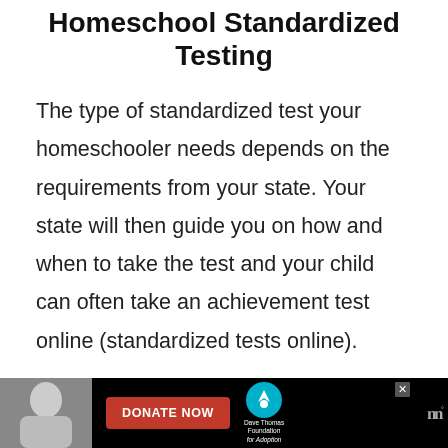Homeschool Standardized Testing
The type of standardized test your homeschooler needs depends on the requirements from your state. Your state will then guide you on how and when to take the test and your child can often take an achievement test online (standardized tests online).
(There may or may not be a fee to
[Figure (photo): Advertisement banner at the bottom: black background with a woman's photo on the left, a red DONATE NOW button in the center, Dave Thomas Foundation for Adoption logo on the right, and a close button.]